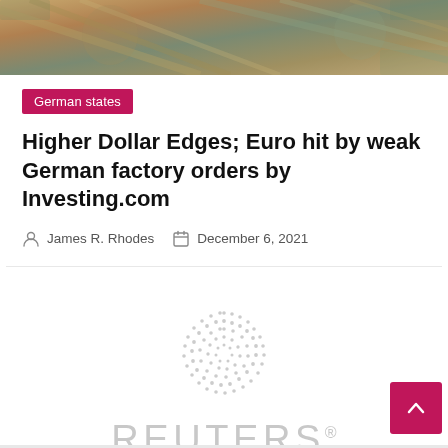[Figure (photo): Close-up photo of US dollar banknotes fanned out, showing green and brown tones]
German states
Higher Dollar Edges; Euro hit by weak German factory orders by Investing.com
James R. Rhodes   December 6, 2021
[Figure (logo): Reuters logo: dotted circular globe icon above the word REUTERS with registered trademark symbol, rendered in light grey]